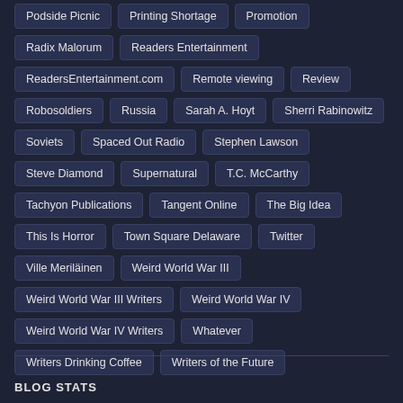Podside Picnic
Printing Shortage
Promotion
Radix Malorum
Readers Entertainment
ReadersEntertainment.com
Remote viewing
Review
Robosoldiers
Russia
Sarah A. Hoyt
Sherri Rabinowitz
Soviets
Spaced Out Radio
Stephen Lawson
Steve Diamond
Supernatural
T.C. McCarthy
Tachyon Publications
Tangent Online
The Big Idea
This Is Horror
Town Square Delaware
Twitter
Ville Meriläinen
Weird World War III
Weird World War III Writers
Weird World War IV
Weird World War IV Writers
Whatever
Writers Drinking Coffee
Writers of the Future
BLOG STATS